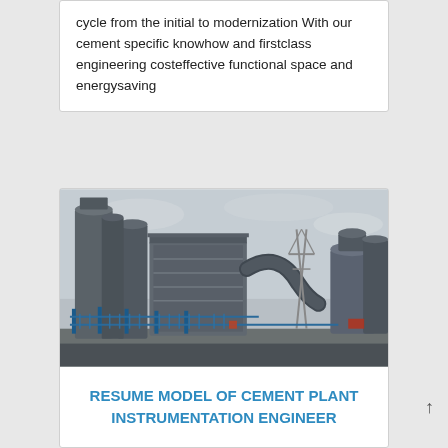cycle from the initial to modernization With our cement specific knowhow and firstclass engineering costeffective functional space and energysaving
[Figure (photo): Industrial cement plant facility photographed from outside a fence. Shows large grey industrial silos, dust collector units, pipes, conveyors, and machinery against an overcast sky.]
RESUME MODEL OF CEMENT PLANT INSTRUMENTATION ENGINEER